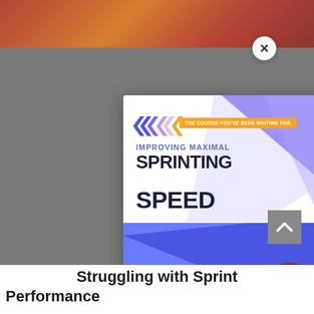[Figure (screenshot): Course promotion modal popup for 'Improving Maximal Sprinting Speed' by Joseph Coyne PhD, Performance Director at Ultimate Fighting Championship. Features blue/purple geometric design with chevron arrows and orange label reading 'The course you've been waiting for'. A photo of the instructor appears in bottom right of the card.]
Struggling with Sprint Performance